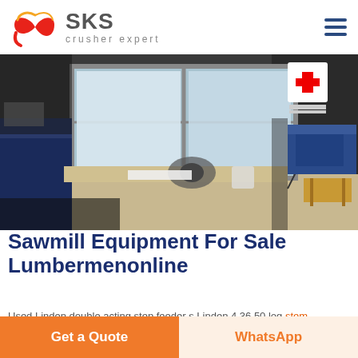[Figure (logo): SKS Crusher Expert logo with stylized red swirl and grey SKS text]
[Figure (photo): Indoor room photo showing a desk near a window with a blue equipment box, papers, tape roll, and a first-aid cross sign on the wall]
Sawmill Equipment For Sale Lumbermenonline
Used Linden double acting step feeder s Linden 4 36 50 log stem...
Get a Quote
WhatsApp